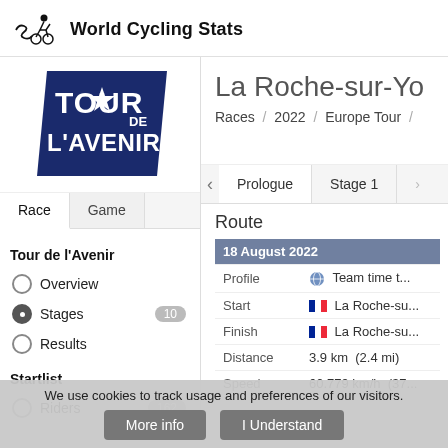World Cycling Stats
[Figure (logo): Tour de l'Avenir logo — dark navy blue trapezoid shape with white text TOUR DE L'AVENIR and a star icon]
La Roche-sur-Yo...
Races / 2022 / Europe Tour /
Prologue   Stage 1
Route
| 18 August 2022 |  |
| Profile | Team time t... |
| Start | La Roche-su... |
| Finish | La Roche-su... |
| Distance | 3.9 km  (2.4 mi) |
| Speed | 60.779 km/h  (37... |
Tour de l'Avenir
Overview
Stages  10
Results
Startlist
Riders  162
We use cookies to track usage and preferences of our visitors.
More info   I Understand